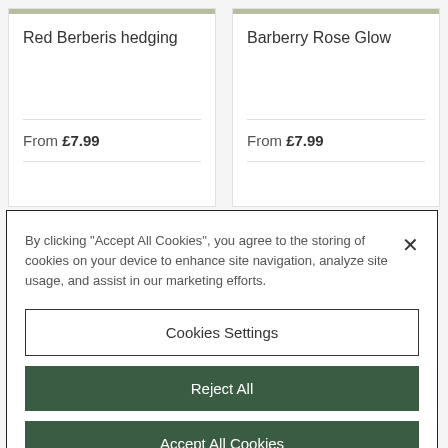Red Berberis hedging
From £7.99
Barberry Rose Glow
From £7.99
By clicking "Accept All Cookies", you agree to the storing of cookies on your device to enhance site navigation, analyze site usage, and assist in our marketing efforts.
Cookies Settings
Reject All
Accept All Cookies